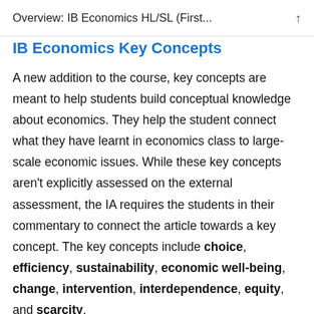Overview: IB Economics HL/SL (First...
IB Economics Key Concepts
A new addition to the course, key concepts are meant to help students build conceptual knowledge about economics. They help the student connect what they have learnt in economics class to large-scale economic issues. While these key concepts aren't explicitly assessed on the external assessment, the IA requires the students in their commentary to connect the article towards a key concept. The key concepts include choice, efficiency, sustainability, economic well-being, change, intervention, interdependence, equity, and scarcity.